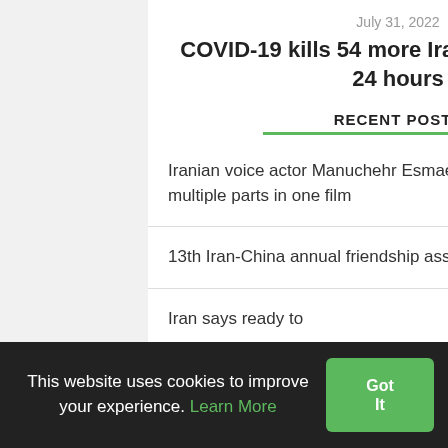July 31, 2022
COVID-19 kills 54 more Iranians over past 24 hours
RECENT POSTS
Iranian voice actor Manuchehr Esmaeili dies at 83, did multiple parts in one film
13th Iran-China annual friendship association held
Iran says ready to
This website uses cookies to improve your experience. Learn More Got It